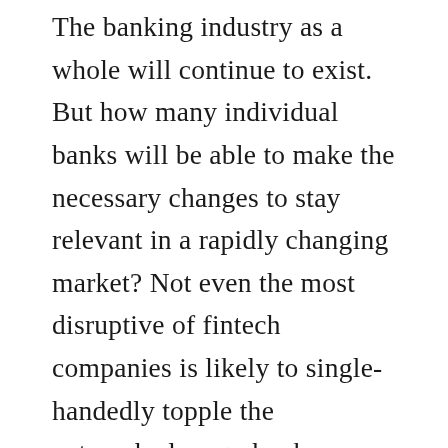The banking industry as a whole will continue to exist. But how many individual banks will be able to make the necessary changes to stay relevant in a rapidly changing market? Not even the most disruptive of fintech companies is likely to single-handedly topple the entrenched mega-bank infrastructure, but these disruptions are slowly killing banks. At least some of them.
As I have written before, failure to innovate is never listed as the cause of death for banks. It's